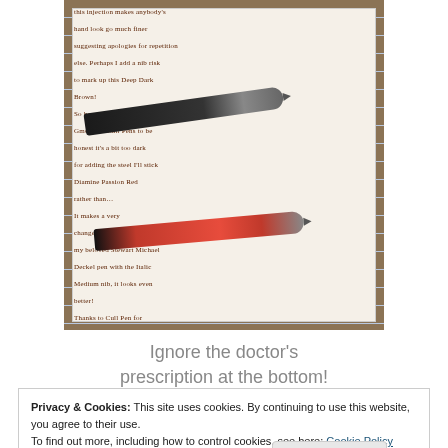[Figure (photo): Photo of a handwritten journal page with cursive writing in dark red/brown ink on lined paper, with two fountain pens resting on top — one black marbled pen and one red pen, on a wooden surface.]
Ignore the doctor's prescription at the bottom!
Privacy & Cookies: This site uses cookies. By continuing to use this website, you agree to their use.
To find out more, including how to control cookies, see here: Cookie Policy